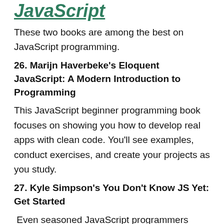JavaScript
These two books are among the best on JavaScript programming.
26. Marijn Haverbeke's Eloquent JavaScript: A Modern Introduction to Programming
This JavaScript beginner programming book focuses on showing you how to develop real apps with clean code. You'll see examples, conduct exercises, and create your projects as you study.
27. Kyle Simpson's You Don't Know JS Yet: Get Started
Even seasoned JavaScript programmers aren't always aware of some of the language's more